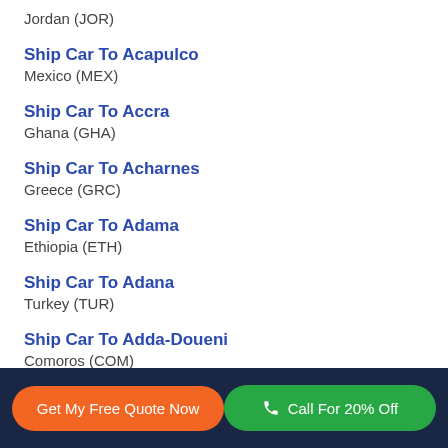Jordan (JOR)
Ship Car To Acapulco
Mexico (MEX)
Ship Car To Accra
Ghana (GHA)
Ship Car To Acharnes
Greece (GRC)
Ship Car To Adama
Ethiopia (ETH)
Ship Car To Adana
Turkey (TUR)
Ship Car To Adda-Doueni
Comoros (COM)
Get My Free Quote Now | Call For 20% Off